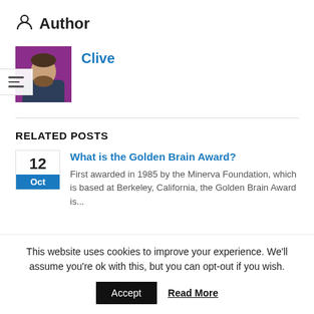Author
[Figure (photo): Profile photo of author Clive, a bald man with a beard wearing a dark shirt, on a purple background]
Clive
RELATED POSTS
12 Oct
What is the Golden Brain Award?
First awarded in 1985 by the Minerva Foundation, which is based at Berkeley, California, the Golden Brain Award is...
This website uses cookies to improve your experience. We'll assume you're ok with this, but you can opt-out if you wish.
Accept
Read More